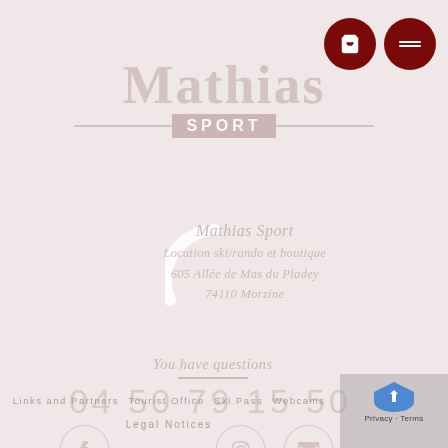[Figure (logo): Mathias Sport logo with decorative lines around SPORT text]
Mathias Sport
Location ski/rando et boutique
605 Allée de Mas du Pladey
74110 Morzine
You have questions
04 50 79 15 50
[Figure (infographic): Social media icons: Facebook, Instagram, Email in circles]
Links and Partners   Tourist Office   Ski Pass   Webcams
Legal Notices